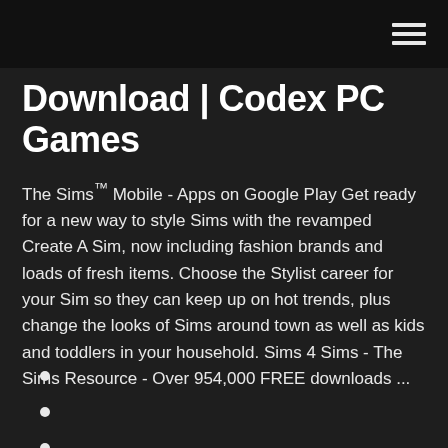Download | Codex PC Games
The Sims™ Mobile - Apps on Google Play Get ready for a new way to style Sims with the revamped Create A Sim, now including fashion brands and loads of fresh items. Choose the Stylist career for your Sim so they can keep up on hot trends, plus change the looks of Sims around town as well as kids and toddlers in your household. Sims 4 Sims - The Sims Resource - Over 954,000 FREE downloads ...